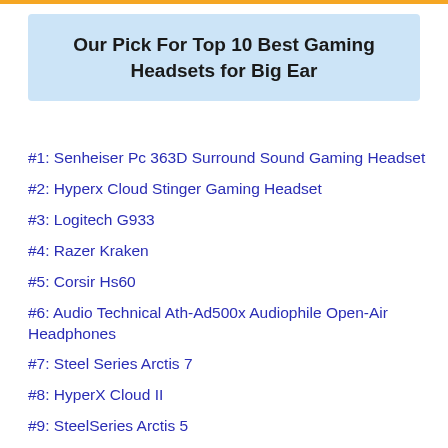Our Pick For Top 10 Best Gaming Headsets for Big Ear
#1: Senheiser Pc 363D Surround Sound Gaming Headset
#2: Hyperx Cloud Stinger Gaming Headset
#3: Logitech G933
#4: Razer Kraken
#5: Corsir Hs60
#6: Audio Technical Ath-Ad500x Audiophile Open-Air Headphones
#7: Steel Series Arctis 7
#8: HyperX Cloud II
#9: SteelSeries Arctis 5